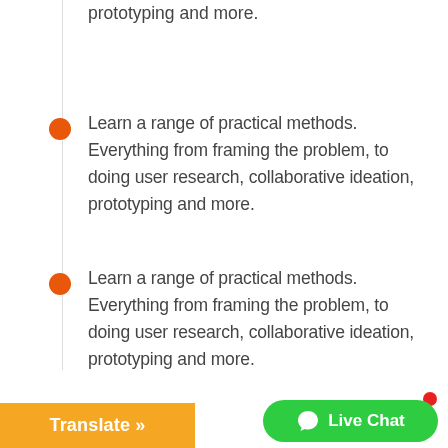prototyping and more.
Learn a range of practical methods. Everything from framing the problem, to doing user research, collaborative ideation, prototyping and more.
Learn a range of practical methods. Everything from framing the problem, to doing user research, collaborative ideation, prototyping and more.